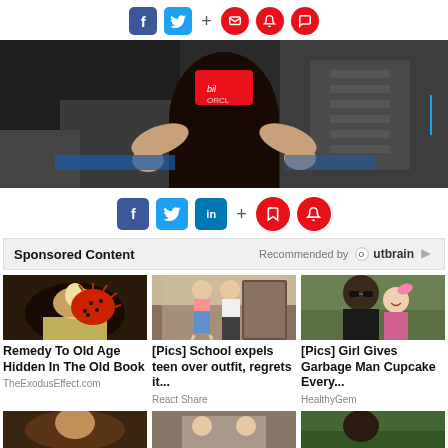[Figure (screenshot): Social media share icons bar: Facebook (f), Twitter bird, plus sign, bookmark icon, bell icon, speech bubble icon on red circles]
[Figure (photo): Hero image showing a person on a racing bicycle, dark background with stadium/track setting, Oracle sponsor visible]
[Figure (screenshot): Second social media share bar: Facebook, Twitter, LinkedIn, plus sign, bookmark and bell icons on red circles]
Sponsored Content | Recommended by Outbrain
[Figure (photo): Thumbnail: hand holding a red spiky fruit with yellow food]
[Figure (photo): Thumbnail: teen girl and adult man in a room]
[Figure (photo): Thumbnail: man with sunglasses and small girl outdoors]
Remedy To Old Age Hidden In The Old Book
TheExodusEffect.com
[Pics] School expels teen over outfit, regrets it...
React Share
[Pics] Girl Gives Garbage Man Cupcake Every...
HealthyGem